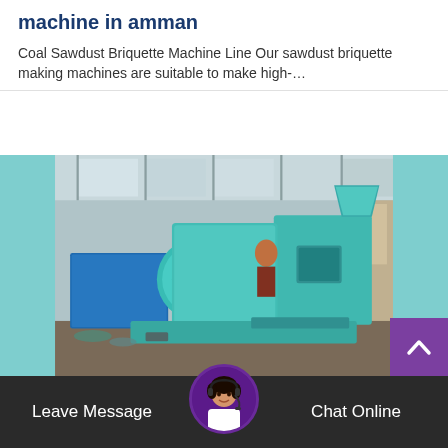machine in amman
Coal Sawdust Briquette Machine Line Our sawdust briquette making machines are suitable to make high-…
[Figure (photo): A large teal/cyan colored briquette making machine inside an industrial factory warehouse setting. The machine has rollers and a hopper on top.]
Leave Message
Chat Online